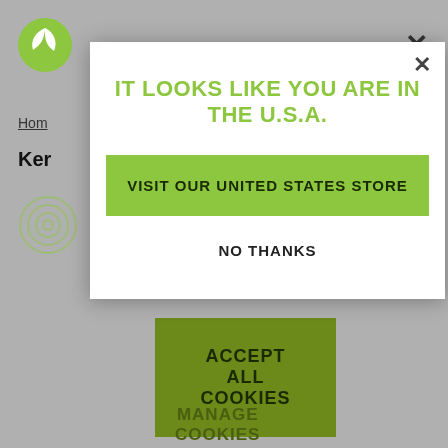[Figure (screenshot): Background of a website with grey overlay, showing a partial logo (green leaf), navigation breadcrumb 'Hom', page heading 'Ker', a circular icon, a dark green 'ACCEPT ALL COOKIES' button, and 'MANAGE COOKIES' text below]
IT LOOKS LIKE YOU ARE IN THE U.S.A.
VISIT OUR UNITED STATES STORE
NO THANKS